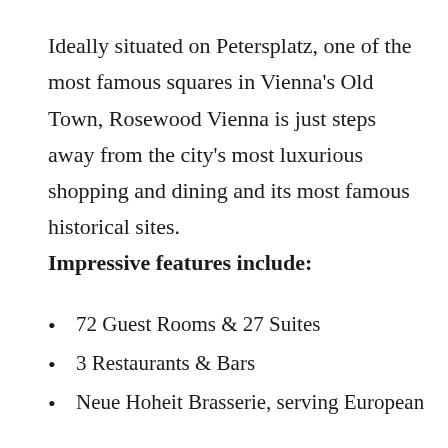Ideally situated on Petersplatz, one of the most famous squares in Vienna's Old Town, Rosewood Vienna is just steps away from the city's most luxurious shopping and dining and its most famous historical sites.
Impressive features include:
72 Guest Rooms & 27 Suites
3 Restaurants & Bars
Neue Hoheit Brasserie, serving European dishes and Austrian classics